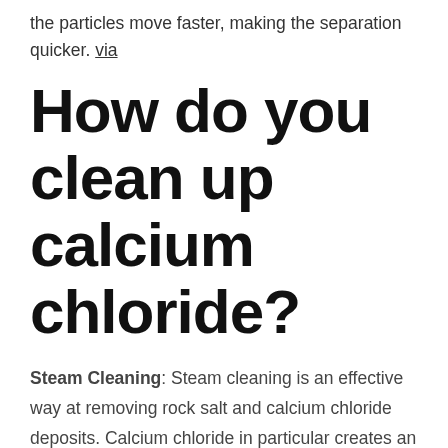the particles move faster, making the separation quicker. via
How do you clean up calcium chloride?
Steam Cleaning: Steam cleaning is an effective way at removing rock salt and calcium chloride deposits. Calcium chloride in particular creates an oily residue which can be difficult to remove with a simple vacuum.